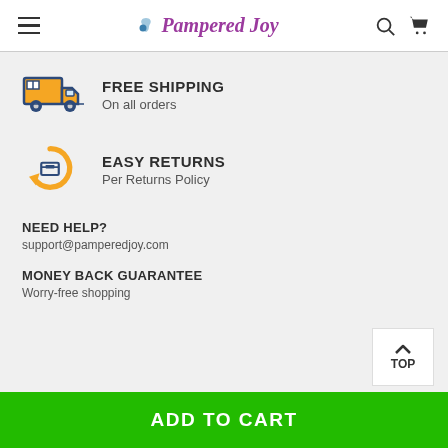Pampered Joy
FREE SHIPPING - On all orders
EASY RETURNS - Per Returns Policy
NEED HELP? - support@pamperedjoy.com
MONEY BACK GUARANTEE - Worry-free shopping
ADD TO CART